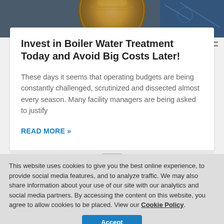[Figure (photo): Hero image showing a US penny coin close-up with brownish gold tones and blue background elements]
Menu
Invest in Boiler Water Treatment Today and Avoid Big Costs Later!
These days it seems that operating budgets are being constantly challenged, scrutinized and dissected almost every season. Many facility managers are being asked to justify
READ MORE »
This website uses cookies to give you the best online experience, to provide social media features, and to analyze traffic. We may also share information about your use of our site with our analytics and social media partners. By accessing the content on this website, you agree to allow cookies to be placed. View our Cookie Policy.